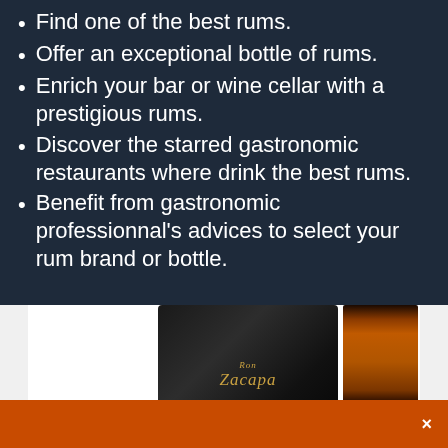Find one of the best rums.
Offer an exceptional bottle of rums.
Enrich your bar or wine cellar with a prestigious rums.
Discover the starred gastronomic restaurants where drink the best rums.
Benefit from gastronomic professionnal's advices to select your rum brand or bottle.
[Figure (photo): Rum bottles including Ron Zacapa and another amber rum bottle displayed on a white background]
×